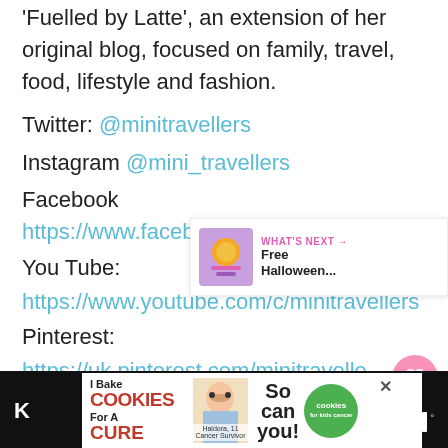Fuelled by Latte', an extension of her original blog, focused on family, travel, food, lifestyle and fashion.
Twitter: @minitravellers
Instagram @mini_travellers
Facebook https://www.facebook.com/minitravellers
You Tube: https://www.youtube.com/c/minitravellers
Pinterest: https://uk.pinterest.com/minitravelle...
[Figure (infographic): What's Next widget showing 'Free Halloween...' with a decorated cookie image]
[Figure (infographic): Ad banner: I Bake COOKIES For A CURE, Haldora 11 Cancer Survivor, So can you! cookies for kids cancer logo]
K